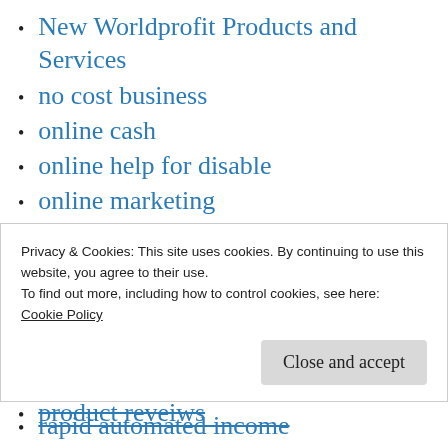New Worldprofit Products and Services
no cost business
online cash
online help for disable
online marketing
password manager
Paul Smithson
pay per view traffic
ppv
ppv traffic
product reveiws
Privacy & Cookies: This site uses cookies. By continuing to use this website, you agree to their use.
To find out more, including how to control cookies, see here:
Cookie Policy
rapid automated income